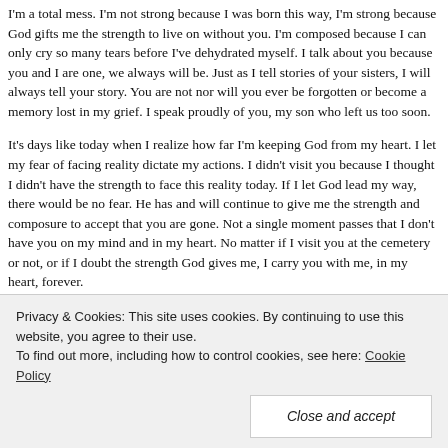I'm a total mess. I'm not strong because I was born this way, I'm strong because God gifts me the strength to live on without you. I'm composed because I can only cry so many tears before I've dehydrated myself. I talk about you because you and I are one, we always will be. Just as I tell stories of your sisters, I will always tell your story. You are not nor will you ever be forgotten or become a memory lost in my grief. I speak proudly of you, my son who left us too soon.
It's days like today when I realize how far I'm keeping God from my heart. I let my fear of facing reality dictate my actions. I didn't visit you because I thought I didn't have the strength to face this reality today. If I let God lead my way, there would be no fear. He has and will continue to give me the strength and composure to accept that you are gone. Not a single moment passes that I don't have you on my mind and in my heart. No matter if I visit you at the cemetery or not, or if I doubt the strength God gives me, I carry you with me, in my heart, forever.
I love you and I miss you,
Privacy & Cookies: This site uses cookies. By continuing to use this website, you agree to their use.
To find out more, including how to control cookies, see here: Cookie Policy
Close and accept